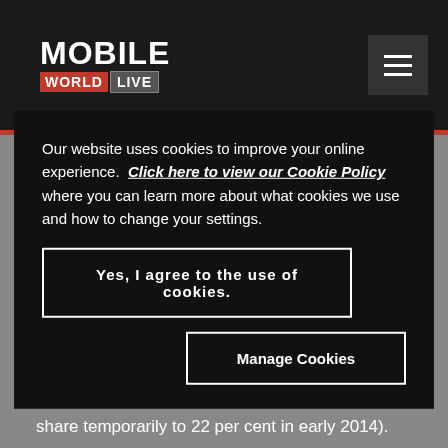[Figure (logo): Mobile World Live logo with nav bar and hamburger menu icon on dark background]
been a huge change for the one-time market challenger, which took the industry by storm back in 2006-07, when it cut prices sharply to
Our website uses cookies to improve your online experience. Click here to view our Cookie Policy where you can learn more about what cookies we use and how to change your settings.
Yes, I agree to the use of cookies.
Manage Cookies
share temporarily to 22 per cent in early 2014).